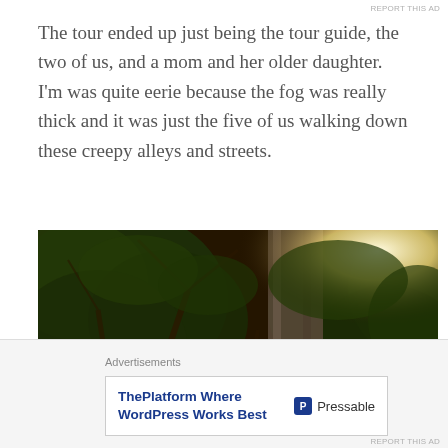The tour ended up just being the tour guide, the two of us, and a mom and her older daughter. I'm was quite eerie because the fog was really thick and it was just the five of us walking down these creepy alleys and streets.
[Figure (photo): Night photograph looking up at large trees with dense foliage illuminated by street lights, with a stone or concrete pillar/building visible in the background. The image has a warm, sepia-toned quality suggesting nighttime urban setting.]
Advertisements
ThePlatform Where WordPress Works Best  Pressable